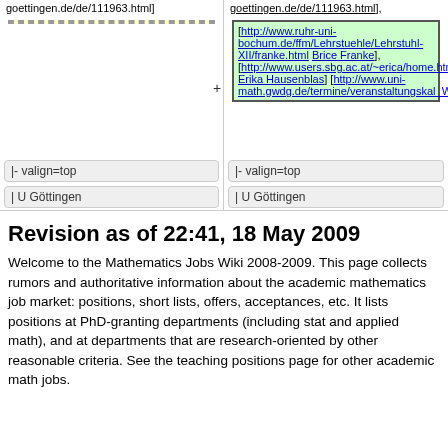goettingen.de/de/111963.html]
goettingen.de/de/111963.html], [http://www.ruhr-uni-bochum.de/ffm/Lehrstuehl e/Lehrstuhl-XII/franke.html Brice Franke], [http://www.users.sbg.ac.at/~erica/home.html Erika Hausenblas] [http://www.uni-math.gwdg.de/termine/veranstaltungskal_WS0809.php]
|- valign=top
|- valign=top
| U Göttingen
| U Göttingen
Revision as of 22:41, 18 May 2009
Welcome to the Mathematics Jobs Wiki 2008-2009. This page collects rumors and authoritative information about the academic mathematics job market: positions, short lists, offers, acceptances, etc. It lists positions at PhD-granting departments (including stat and applied math), and at departments that are research-oriented by other reasonable criteria. See the teaching positions page for other academic math jobs.